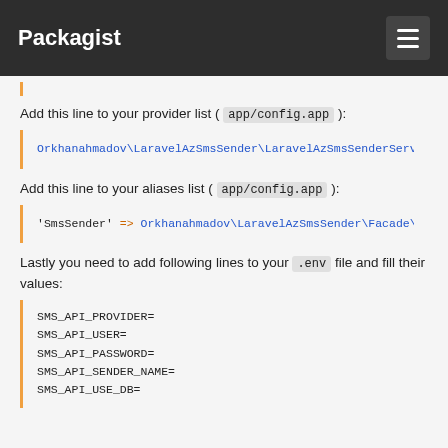Packagist
Add this line to your provider list ( app/config.app ):
Orkhanahmadov\LaravelAzSmsSender\LaravelAzSmsSenderServ
Add this line to your aliases list ( app/config.app ):
'SmsSender' => Orkhanahmadov\LaravelAzSmsSender\Facade\
Lastly you need to add following lines to your .env file and fill their values:
SMS_API_PROVIDER=
SMS_API_USER=
SMS_API_PASSWORD=
SMS_API_SENDER_NAME=
SMS_API_USE_DB=